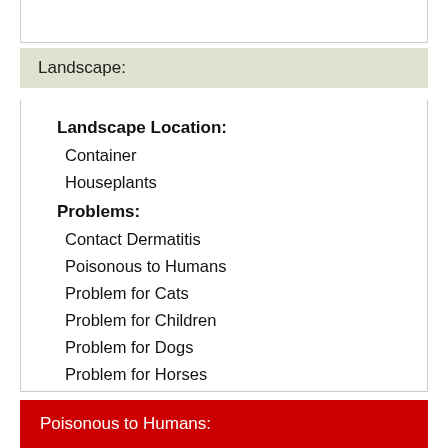Landscape:
Landscape Location:
Container
Houseplants
Problems:
Contact Dermatitis
Poisonous to Humans
Problem for Cats
Problem for Children
Problem for Dogs
Problem for Horses
Poisonous to Humans: